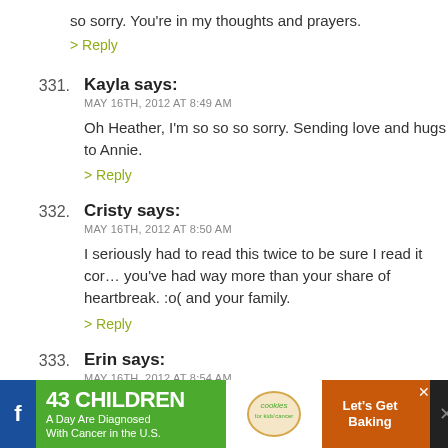so sorry. You're in my thoughts and prayers.
> Reply
331. Kayla says: MAY 16TH, 2012 AT 8:49 AM — Oh Heather, I'm so so so sorry. Sending love and hugs to Annie.
> Reply
332. Cristy says: MAY 16TH, 2012 AT 8:50 AM — I seriously had to read this twice to be sure I read it correctly. you've had way more than your share of heartbreak. :o( and your family.
> Reply
333. Erin says: MAY 16TH, 2012 AT 8:54 AM
[Figure (infographic): Ad banner: 43 Children A Day Are Diagnosed With Cancer in the U.S. — cookies for kids' cancer — Let's Get Baking]